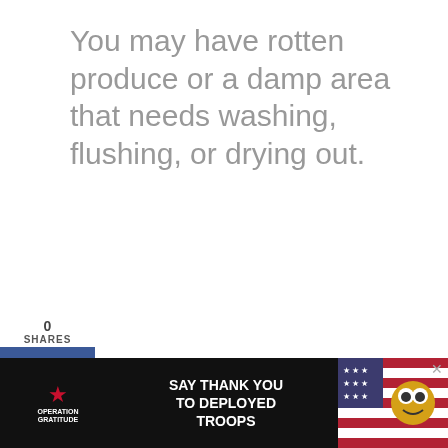You may have rotten produce or a damp area that needs washing, flushing, or drying out.
[Figure (infographic): Social share sidebar with 0 SHARES count, Facebook (blue), Twitter (blue), and Pinterest (red) buttons]
Otherwise, you may have brought something indoors that already carries some gnat eggs.
[Figure (infographic): Teal heart favorite button, share button with count 1]
Items that can nurture gnat eggs includ damp soil in potted plants and wet
[Figure (infographic): Ad banner: Operation Gratitude - SAY THANK YOU TO DEPLOYED TROOPS with patriotic imagery and mascot]